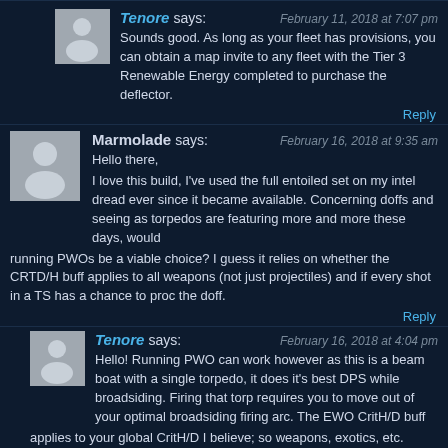Tenore says: February 11, 2018 at 7:07 pm
Sounds good. As long as your fleet has provisions, you can obtain a map invite to any fleet with the Tier 3 Renewable Energy completed to purchase the deflector.
Reply
Marmolade says: February 16, 2018 at 9:35 am
Hello there,
I love this build, I've used the full entoiled set on my intel dread ever since it became available. Concerning doffs and seeing as torpedos are featuring more and more these days, would running PWOs be a viable choice? I guess it relies on whether the CRTD/H buff applies to all weapons (not just projectiles) and if every shot in a TS has a chance to proc the doff.
Reply
Tenore says: February 16, 2018 at 4:04 pm
Hello! Running PWO can work however as this is a beam boat with a single torpedo, it does it's best DPS while broadsiding. Firing that torp requires you to move out of your optimal broadsiding firing arc. The EWO CritH/D buff applies to your global CritH/D I believe; so weapons, exotics, etc.
Reply
Marius says: February 20, 2018 at 3:24 am